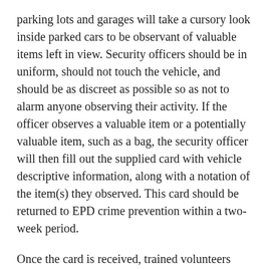parking lots and garages will take a cursory look inside parked cars to be observant of valuable items left in view. Security officers should be in uniform, should not touch the vehicle, and should be as discreet as possible so as not to alarm anyone observing their activity. If the officer observes a valuable item or a potentially valuable item, such as a bag, the security officer will then fill out the supplied card with vehicle descriptive information, along with a notation of the item(s) they observed. This card should be returned to EPD crime prevention within a two-week period.
Once the card is received, trained volunteers will check the card's vehicle description with DMV records. If the make and model match, a letter is then mailed to the registered owner letting them know their vehicle was at risk of being broken into. Our brochure is also included.